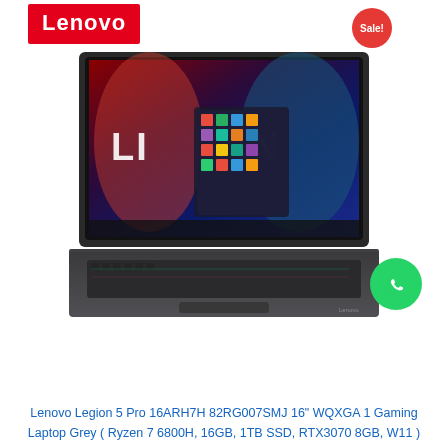[Figure (logo): Lenovo red logo with white text on red rectangle background]
[Figure (other): Red circular Sale! badge]
[Figure (photo): Lenovo Legion 5 Pro laptop photo showing the screen with Legion branding and RGB keyboard, color Storm Grey]
[Figure (logo): WhatsApp green circular button with phone icon]
Lenovo Legion 5 Pro 16ARH7H 82RG007SMJ 16" WQXGA 1 Gaming Laptop Grey ( Ryzen 7 6800H, 16GB, 1TB SSD, RTX3070 8GB, W11 )